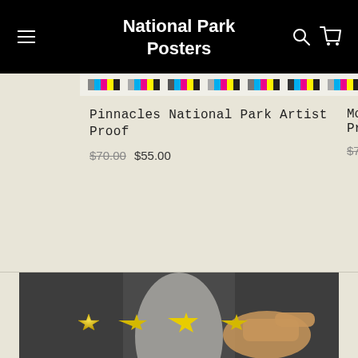National Park Posters
[Figure (screenshot): E-commerce product listing showing 'Pinnacles National Park Artist Proof' with original price $70.00 and sale price $55.00, partially showing a second product starting with 'Mo... Pr...' at $70...]
[Figure (photo): Person in a suit pointing at a 5-star rating display with golden stars, suggesting a customer review or rating concept photo]